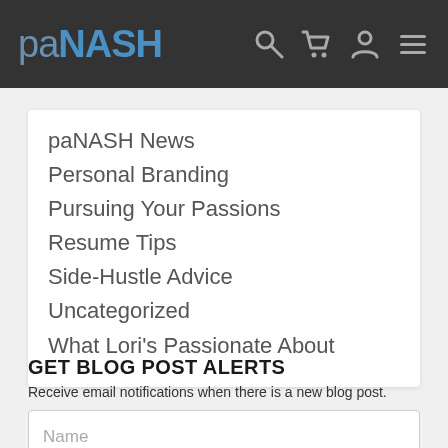paNASH
paNASH News
Personal Branding
Pursuing Your Passions
Resume Tips
Side-Hustle Advice
Uncategorized
What Lori's Passionate About
GET BLOG POST ALERTS
Receive email notifications when there is a new blog post.
Name
Email*